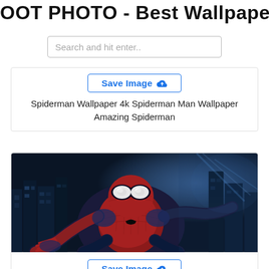OOT PHOTO - Best Wallpaper Web
Search and hit enter..
Save Image
Spiderman Wallpaper 4k Spiderman Man Wallpaper Amazing Spiderman
[Figure (photo): Spiderman in red and blue suit crouching over a dark city skyline at night, looking forward intensely]
Save Image